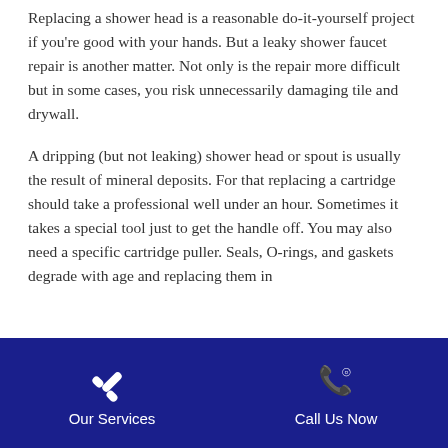Replacing a shower head is a reasonable do-it-yourself project if you're good with your hands. But a leaky shower faucet repair is another matter. Not only is the repair more difficult but in some cases, you risk unnecessarily damaging tile and drywall.
A dripping (but not leaking) shower head or spout is usually the result of mineral deposits. For that replacing a cartridge should take a professional well under an hour. Sometimes it takes a special tool just to get the handle off. You may also need a specific cartridge puller. Seals, O-rings, and gaskets degrade with age and replacing them in
Our Services   Call Us Now